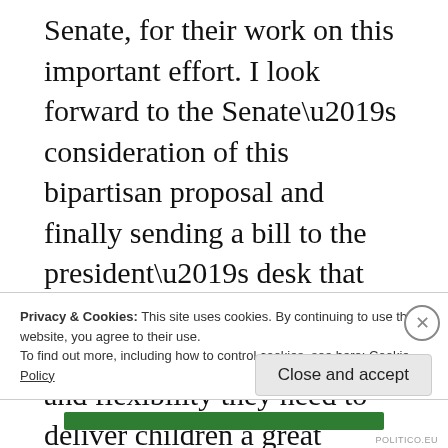Senate, for their work on this important effort. I look forward to the Senate’s consideration of this bipartisan proposal and finally sending a bill to the president’s desk that will provide parents and school leaders the certainty and flexibility they need to deliver children a great education.”
Privacy & Cookies: This site uses cookies. By continuing to use this website, you agree to their use. To find out more, including how to control cookies, see here: Cookie Policy
Close and accept
POLITICO.EU